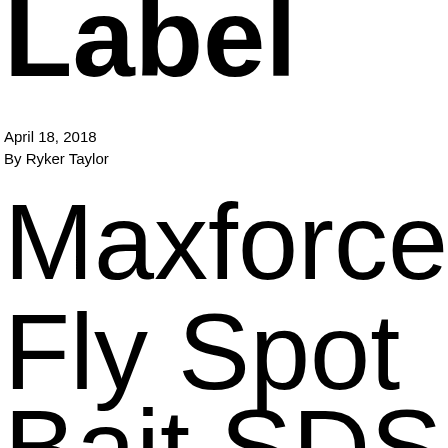Label
April 18, 2018
By Ryker Taylor
Maxforce
Fly Spot
Bait SDS